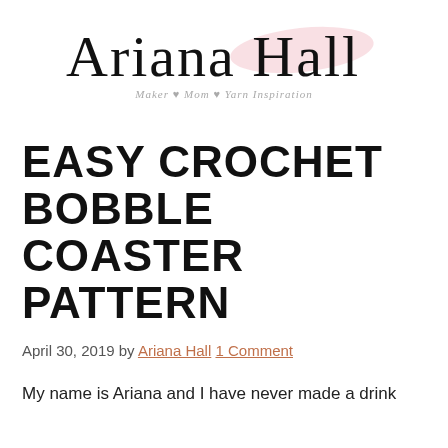[Figure (logo): Ariana Hall script logo with pink brushstroke behind 'Hall', tagline: Maker ♥ Mom ♥ Yarn Inspiration]
EASY CROCHET BOBBLE COASTER PATTERN
April 30, 2019 by Ariana Hall  1 Comment
My name is Ariana and I have never made a drink